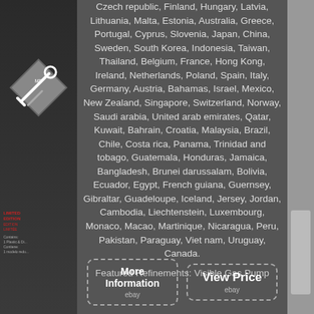Czech republic, Finland, Hungary, Latvia, Lithuania, Malta, Estonia, Australia, Greece, Portugal, Cyprus, Slovenia, Japan, China, Sweden, South Korea, Indonesia, Taiwan, Thailand, Belgium, France, Hong Kong, Ireland, Netherlands, Poland, Spain, Italy, Germany, Austria, Bahamas, Israel, Mexico, New Zealand, Singapore, Switzerland, Norway, Saudi arabia, United arab emirates, Qatar, Kuwait, Bahrain, Croatia, Malaysia, Brazil, Chile, Costa rica, Panama, Trinidad and tobago, Guatemala, Honduras, Jamaica, Bangladesh, Brunei darussalam, Bolivia, Ecuador, Egypt, French guiana, Guernsey, Gibraltar, Guadeloupe, Iceland, Jersey, Jordan, Cambodia, Liechtenstein, Luxembourg, Monaco, Macao, Martinique, Nicaragua, Peru, Pakistan, Paraguay, Viet nam, Uruguay, Canada.
Featured Refinements: Visible Gas Pump
More Information ebay
View Price ebay